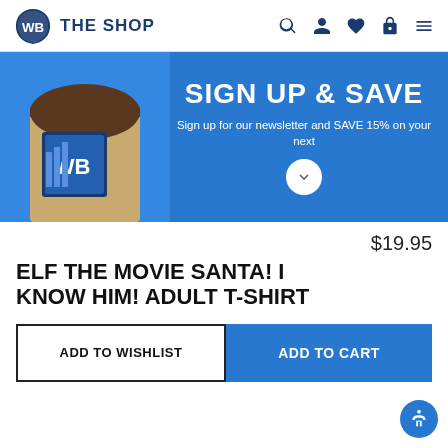WB THE SHOP
[Figure (screenshot): WB The Shop website banner showing 'SIGN UP & SAVE' newsletter offer with WB building in background]
$19.95
ELF THE MOVIE SANTA! I KNOW HIM! ADULT T-SHIRT
ADD TO WISHLIST
ADD TO CART